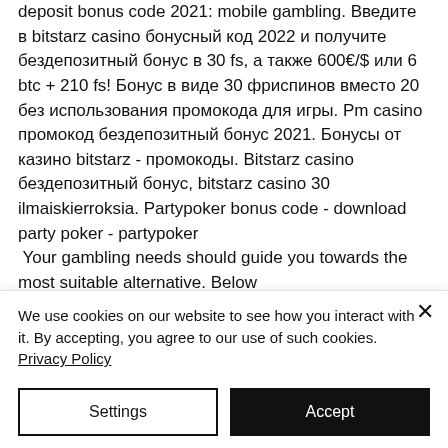deposit bonus code 2021: mobile gambling. Введите в bitstarz casino бонусный код 2022 и получите бездепозитный бонус в 30 fs, а также 600€/$ или 6 btc + 210 fs! Бонус в виде 30 фриспинов вместо 20 без использования промокода для игры. Pm casino промокод бездепозитный бонус 2021. Бонусы от казино bitstarz - промокоды. Bitstarz casino бездепозитный бонус, bitstarz casino 30 ilmaiskierroksia. Partypoker bonus code - download party poker - partypoker
 Your gambling needs should guide you towards the most suitable alternative. Below
We use cookies on our website to see how you interact with it. By accepting, you agree to our use of such cookies. Privacy Policy
Settings
Accept